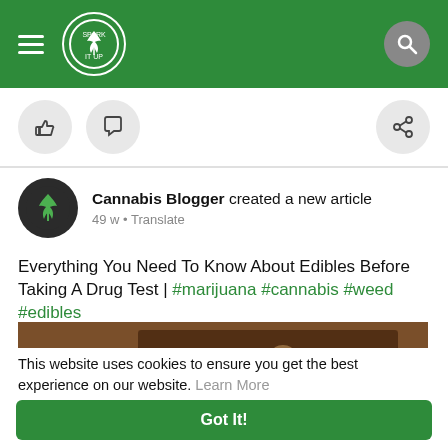Spark It Up — navigation header with hamburger menu, logo, and search icon
[Figure (screenshot): Social media post action bar with thumbs-up like icon, comment bubble icon, and share icon]
Cannabis Blogger created a new article
49 w • Translate
Everything You Need To Know About Edibles Before Taking A Drug Test | #marijuana #cannabis #weed #edibles
[Figure (photo): Photo of a cannabis brownie edible with a marijuana leaf beside it]
This website uses cookies to ensure you get the best experience on our website. Learn More
Got It!